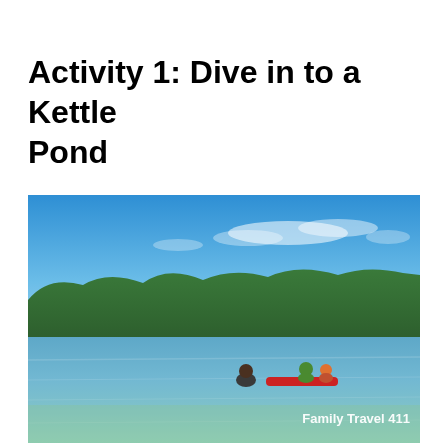Activity 1: Dive in to a Kettle Pond
[Figure (photo): People swimming in a clear kettle pond with a red paddleboard, surrounded by dense green trees under a bright blue sky with light clouds. A watermark reads 'Family Travel 411' in white bold text in the lower right corner.]